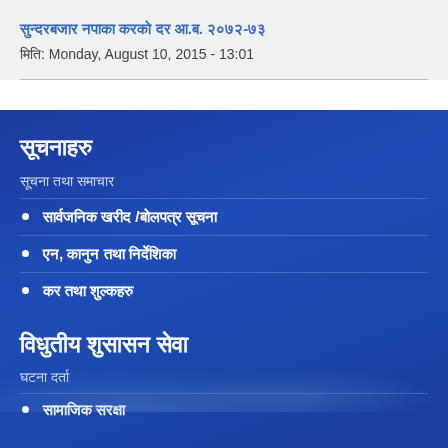सुन्दरबजार नपाका करको दर आ.ब. २०७२-७३
मिति: Monday, August 10, 2015 - 13:01
सूचनाहरु
सूचना तथा समाचार
सार्वजनिक खरीद /बोलपत्र सूचना
एन, कानुन तथा निर्देशिका
कर तथा शुल्कहरु
विधुतीय शुसासन सेवा
घटना दर्ता
सामाजिक सरक्षा